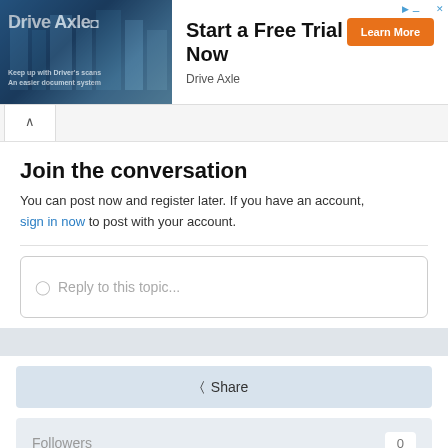[Figure (screenshot): Drive Axle advertisement banner with photo of truck/warehouse on left side]
Start a Free Trial Now
Drive Axle
Join the conversation
You can post now and register later. If you have an account, sign in now to post with your account.
Reply to this topic...
Share
Followers	0